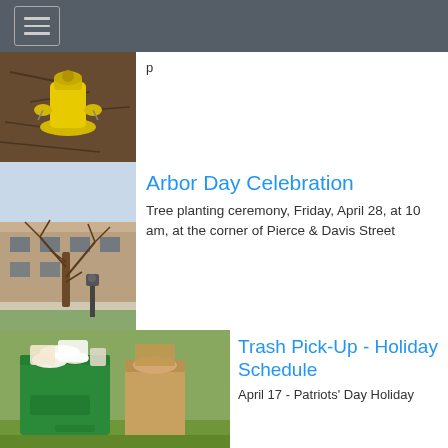Navigation menu
[Figure (photo): Partial image of a yellow fire hydrant on mulch/dark soil ground]
[Figure (photo): A bare tree in front of a commercial building with a parking meter on a sidewalk]
Arbor Day Celebration
Tree planting ceremony, Friday, April 28, at 10 am, at the corner of Pierce & Davis Street
[Figure (photo): A green recycling bin and a brown paper bag filled with trash/recycling items on grass]
Trash Pick-Up - Holiday Schedule
April 17 - Patriots' Day Holiday